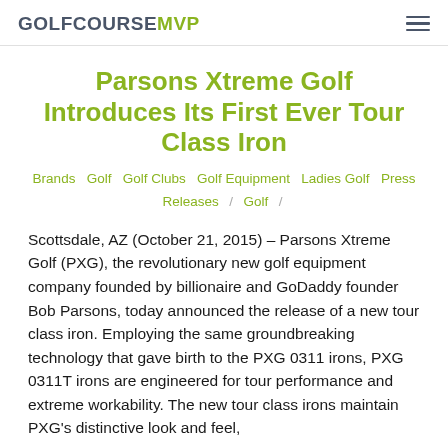GOLFCOURSEMVP
Parsons Xtreme Golf Introduces Its First Ever Tour Class Iron
Brands Golf Golf Clubs Golf Equipment Ladies Golf Press Releases / Golf /
Scottsdale, AZ (October 21, 2015) – Parsons Xtreme Golf (PXG), the revolutionary new golf equipment company founded by billionaire and GoDaddy founder Bob Parsons, today announced the release of a new tour class iron. Employing the same groundbreaking technology that gave birth to the PXG 0311 irons, PXG 0311T irons are engineered for tour performance and extreme workability. The new tour class irons maintain PXG's distinctive look and feel,